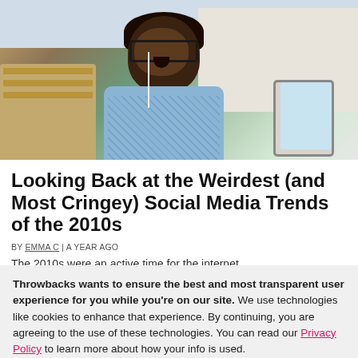[Figure (photo): A young Black man with curly hair, glasses, and earphones looking shocked while holding a tablet, sitting at an outdoor cafe with wooden benches]
Looking Back at the Weirdest (and Most Cringey) Social Media Trends of the 2010s
BY EMMA C | A YEAR AGO
The 2010s were an active time for the internet
Throwbacks wants to ensure the best and most transparent user experience for you while you're on our site. We use technologies like cookies to enhance that experience. By continuing, you are agreeing to the use of these technologies. You can read our Privacy Policy to learn more about how your info is used.
I AGREE, LET'S GO!